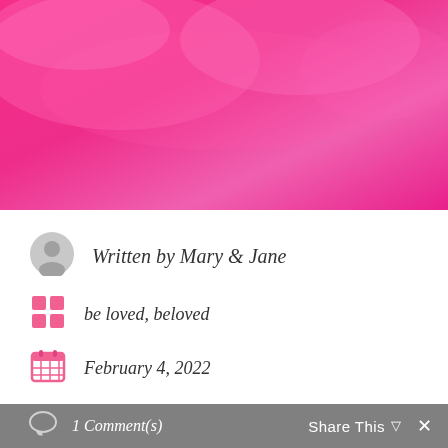[Figure (illustration): Pink watercolor-style abstract background image — hot pink and magenta tones with cloud/blob shapes]
Written by Mary & Jane
be loved, beloved
February 4, 2022
1 Comment(s)
Share This